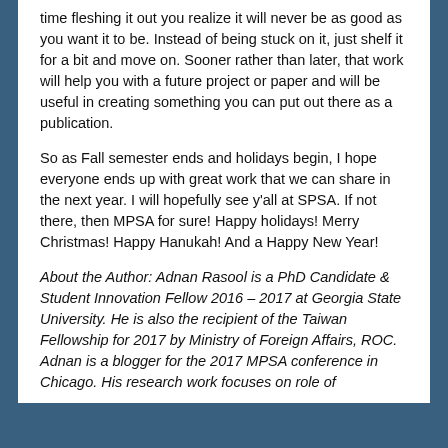time fleshing it out you realize it will never be as good as you want it to be. Instead of being stuck on it, just shelf it for a bit and move on. Sooner rather than later, that work will help you with a future project or paper and will be useful in creating something you can put out there as a publication.
So as Fall semester ends and holidays begin, I hope everyone ends up with great work that we can share in the next year. I will hopefully see y'all at SPSA. If not there, then MPSA for sure! Happy holidays! Merry Christmas! Happy Hanukah! And a Happy New Year!
About the Author: Adnan Rasool is a PhD Candidate & Student Innovation Fellow 2016 – 2017 at Georgia State University. He is also the recipient of the Taiwan Fellowship for 2017 by Ministry of Foreign Affairs, ROC. Adnan is a blogger for the 2017 MPSA conference in Chicago. His research work focuses on role of